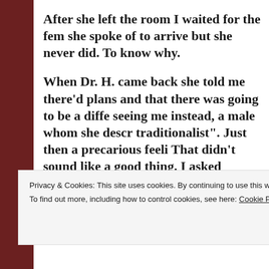After she left the room I waited for the fem she spoke of to arrive but she never did. To know why.
When Dr. H. came back she told me there'd plans and that there was going to be a diffe seeing me instead, a male whom she descr traditionalist". Just then a precarious feeli That didn't sound like a good thing. I asked problem with a strong woman and she tol was a strong woman.
Privacy & Cookies: This site uses cookies. By continuing to use this website, you agree to their use.
To find out more, including how to control cookies, see here: Cookie Policy